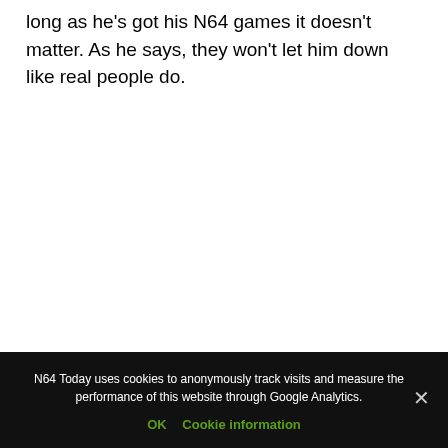long as he's got his N64 games it doesn't matter. As he says, they won't let him down like real people do.
N64 Today uses cookies to anonymously track visits and measure the performance of this website through Google Analytics.
OK   Cookie information